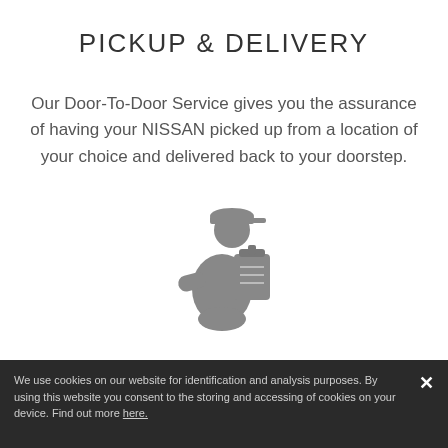PICKUP & DELIVERY
Our Door-To-Door Service gives you the assurance of having your NISSAN picked up from a location of your choice and delivered back to your doorstep.
[Figure (illustration): Grey silhouette icon of a delivery person holding a clipboard/package]
PROFESSIONAL SERVICE
We use cookies on our website for identification and analysis purposes. By using this website you consent to the storing and accessing of cookies on your device. Find out more here.